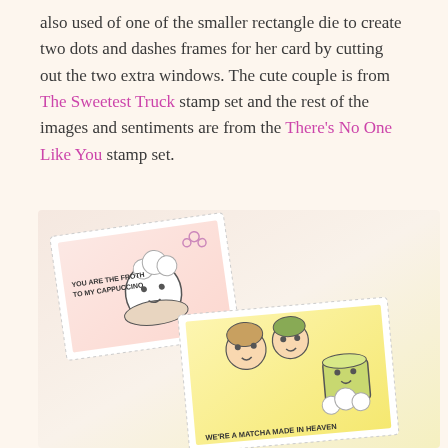also used of one of the smaller rectangle die to create two dots and dashes frames for her card by cutting out the two extra windows. The cute couple is from The Sweetest Truck stamp set and the rest of the images and sentiments are from the There's No One Like You stamp set.
[Figure (photo): Photo of two handmade greeting cards. One card has a pink/peach background with a cute cappuccino cup character and text 'YOU ARE THE FROTH TO MY CAPPUCCINO'. A second card on yellow background shows two cute child characters and a matcha cup with text 'WE'RE A MATCHA MADE IN HEAVEN'. Both cards have stitched rectangle frames.]